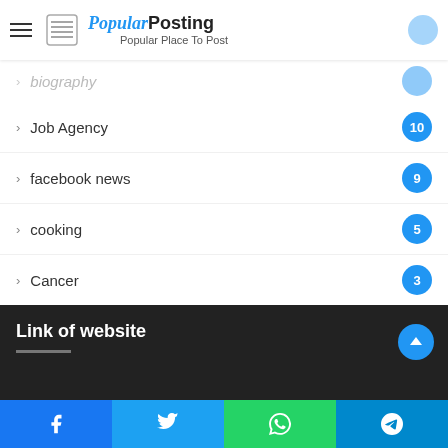Popular Posting — Popular Place To Post
biography (partial, top-cropped)
Job Agency — 10
facebook news — 9
cooking — 5
Cancer — 3
Criminal Lawyer — 2
Farmest — 2
Link of website
Facebook | Twitter | WhatsApp | Telegram